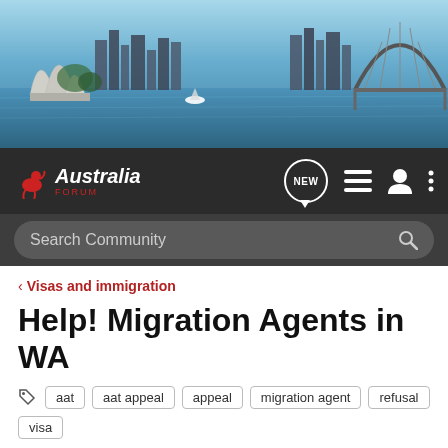[Figure (photo): Aerial/harbour view of Sydney Australia with Opera House and Harbour Bridge skyline]
Australia Forum | NEW | Search Community
< Visas and immigration
Help! Migration Agents in WA
aat  aat appeal  appeal  migration agent  refusal  visa
→ Jump to Latest
+ Follow
Not open for further replies.
1 - 8 of 8 Posts